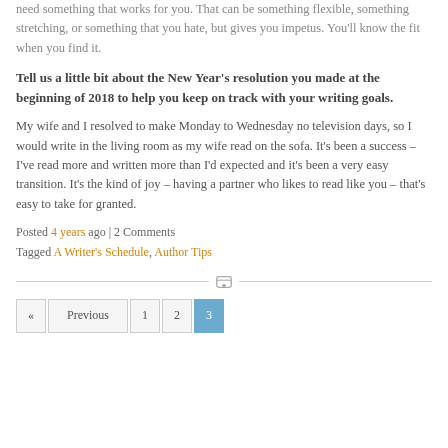need something that works for you. That can be something flexible, something stretching, or something that you hate, but gives you impetus. You'll know the fit when you find it.
Tell us a little bit about the New Year's resolution you made at the beginning of 2018 to help you keep on track with your writing goals.
My wife and I resolved to make Monday to Wednesday no television days, so I would write in the living room as my wife read on the sofa. It's been a success – I've read more and written more than I'd expected and it's been a very easy transition. It's the kind of joy – having a partner who likes to read like you – that's easy to take for granted.
Posted 4 years ago | 2 Comments
Tagged A Writer's Schedule, Author Tips